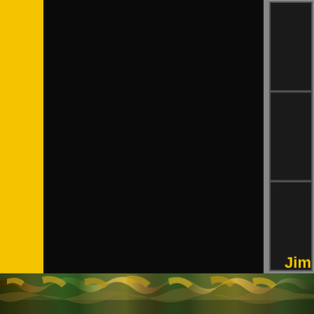[Figure (photo): Book cover or magazine page with a yellow left border bar, large black background area, a gray framed panel in the upper right corner with dark sections, yellow text reading 'Jim' in the lower right, and a photo strip at the bottom showing palm fronds/leaves in golden and green tones.]